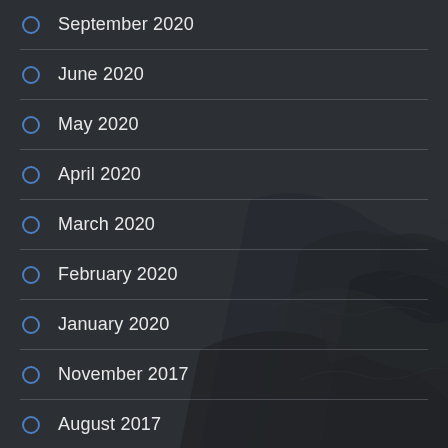September 2020
June 2020
May 2020
April 2020
March 2020
February 2020
January 2020
November 2017
August 2017
March 2017